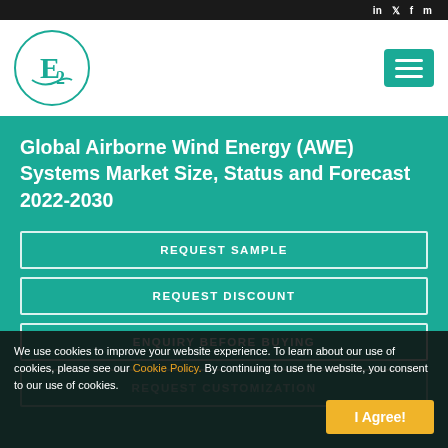in  /  f  m
[Figure (logo): E2 logo inside a teal circle]
Global Airborne Wind Energy (AWE) Systems Market Size, Status and Forecast 2022-2030
REQUEST SAMPLE
REQUEST DISCOUNT
ENQUIRY BEFORE BUYING
REQUEST CUSTOMIZATION
We use cookies to improve your website experience. To learn about our use of cookies, please see our Cookie Policy. By continuing to use the website, you consent to our use of cookies.
I Agree!